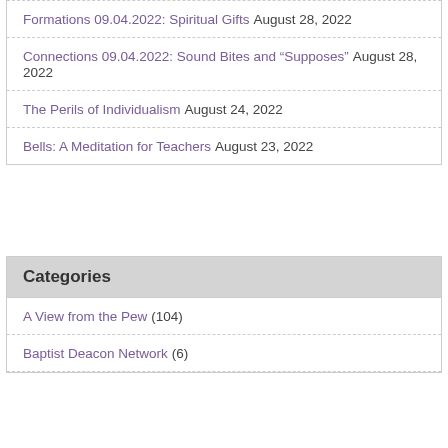Formations 09.04.2022: Spiritual Gifts August 28, 2022
Connections 09.04.2022: Sound Bites and “Supposes” August 28, 2022
The Perils of Individualism August 24, 2022
Bells: A Meditation for Teachers August 23, 2022
Categories
A View from the Pew (104)
Baptist Deacon Network (6)